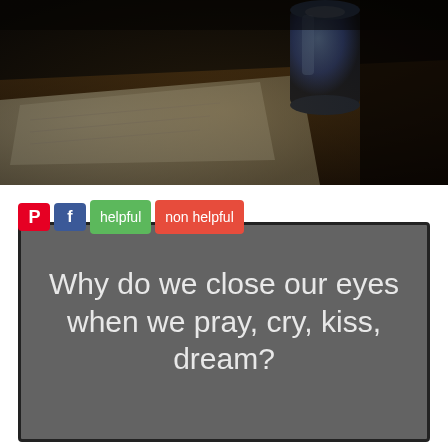[Figure (photo): Dark moody photo of a desk scene with papers and a blue mug/container in dim lighting]
[Figure (screenshot): Screenshot of a social sharing interface with Pinterest, Facebook, helpful and non helpful buttons above a dark gray quote card reading: Why do we close our eyes when we pray, cry, kiss, dream?]